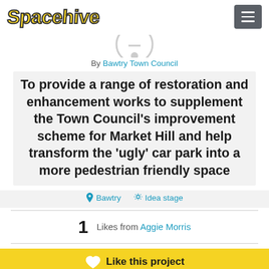Spacehive
[Figure (logo): Partial circular logo/icon at top center]
By Bawtry Town Council
To provide a range of restoration and enhancement works to supplement the Town Council’s improvement scheme for Market Hill and help transform the ‘ugly’ car park into a more pedestrian friendly space
Bawtry   Idea stage
1   Likes from Aggie Morris
Like this project